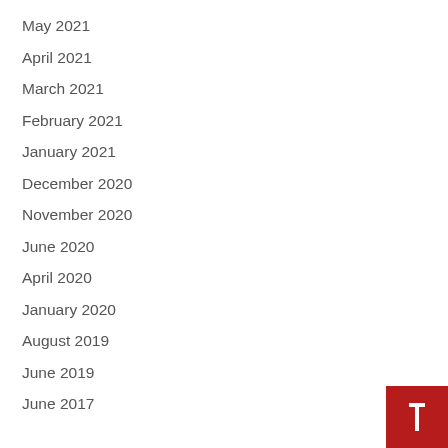May 2021
April 2021
March 2021
February 2021
January 2021
December 2020
November 2020
June 2020
April 2020
January 2020
August 2019
June 2019
June 2017